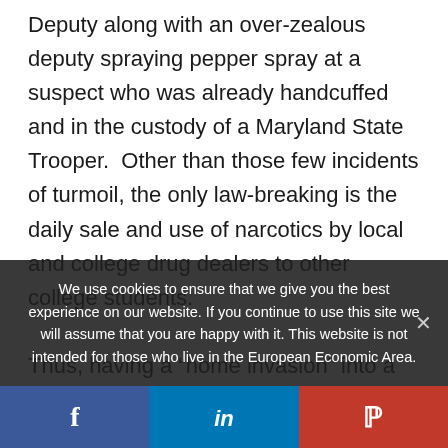Deputy along with an over-zealous deputy spraying pepper spray at a suspect who was already handcuffed and in the custody of a Maryland State Trooper.  Other than those few incidents of turmoil, the only law-breaking is the daily sale and use of narcotics by local and college drug dealers to other college students.

Thus, having a “home invasion” into a dorm committed by four felonious student Dirtbags is
We use cookies to ensure that we give you the best experience on our website. If you continue to use this site we will assume that you are happy with it. This website is not intended for those who live in the European Economic Area.
Social share buttons: Facebook, LinkedIn, Parler